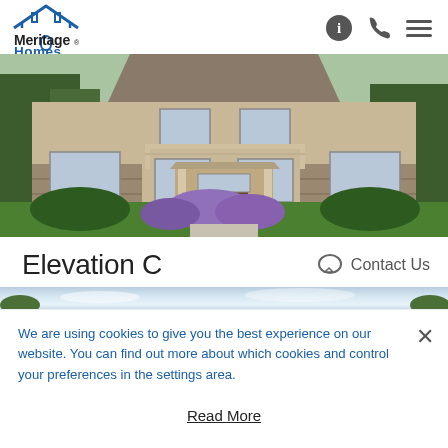[Figure (logo): Meritage Homes logo with house roof graphic, black 'Meritage' text and blue 'Homes' text]
[Figure (photo): Exterior photo of a multi-story Meritage Homes house with stone facade, balcony, and landscaped front yard with purple flowering plants and green lawn]
Elevation C
Contact Us
[Figure (photo): Narrow horizontal banner strip showing a sky/exterior scene]
We are using cookies to give you the best experience on our website. You can find out more about which cookies and control your preferences in the settings area.
Read More